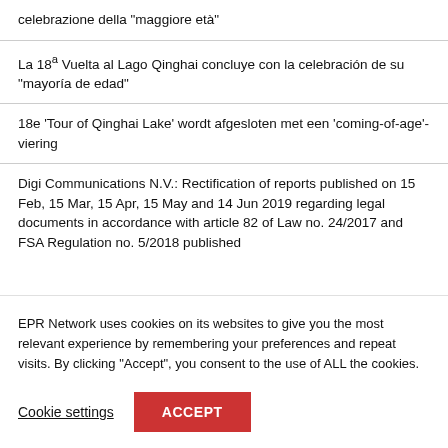celebrazione della “maggiore età”
La 18ª Vuelta al Lago Qinghai concluye con la celebración de su “mayoría de edad”
18e ‘Tour of Qinghai Lake’ wordt afgesloten met een ‘coming-of-age’-viering
Digi Communications N.V.: Rectification of reports published on 15 Feb, 15 Mar, 15 Apr, 15 May and 14 Jun 2019 regarding legal documents in accordance with article 82 of Law no. 24/2017 and FSA Regulation no. 5/2018 published
EPR Network uses cookies on its websites to give you the most relevant experience by remembering your preferences and repeat visits. By clicking “Accept”, you consent to the use of ALL the cookies.
Cookie settings  ACCEPT